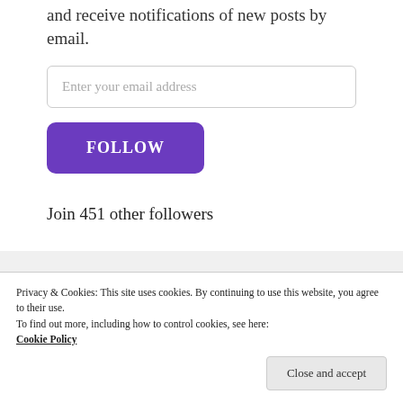Enter your email address to follow this blog and receive notifications of new posts by email.
Enter your email address
FOLLOW
Join 451 other followers
Privacy & Cookies: This site uses cookies. By continuing to use this website, you agree to their use.
To find out more, including how to control cookies, see here: Cookie Policy
Close and accept